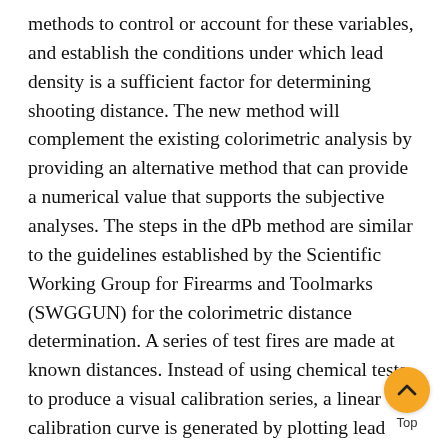methods to control or account for these variables, and establish the conditions under which lead density is a sufficient factor for determining shooting distance. The new method will complement the existing colorimetric analysis by providing an alternative method that can provide a numerical value that supports the subjective analyses. The steps in the dPb method are similar to the guidelines established by the Scientific Working Group for Firearms and Toolmarks (SWGGUN) for the colorimetric distance determination. A series of test fires are made at known distances. Instead of using chemical tests to produce a visual calibration series, a linear calibration curve is generated by plotting lead density against the firing distance. The mass of lead contaminating the targ determined by extracting it from a specified area around the bullet hole with dilute nitric acid and